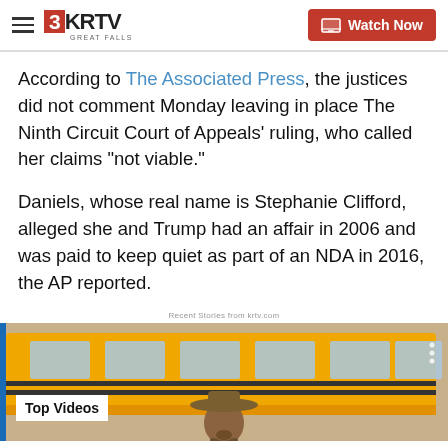3KRTV GREAT FALLS | Watch Now
According to The Associated Press, the justices did not comment Monday leaving in place The Ninth Circuit Court of Appeals' ruling, who called her claims "not viable."
Daniels, whose real name is Stephanie Clifford, alleged she and Trump had an affair in 2006 and was paid to keep quiet as part of an NDA in 2016, the AP reported.
Recent Stories from krtv.com
[Figure (screenshot): Video thumbnail showing a man in a cowboy hat in front of a yellow school bus, with 'Top Videos' label overlay]